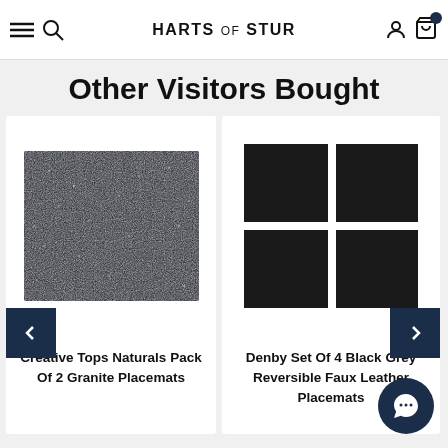HARTS OF STUR
Other Visitors Bought
[Figure (photo): Dark granite texture placemat product photo]
Creative Tops Naturals Pack Of 2 Granite Placemats
[Figure (photo): Set of 4 dark grey/black reversible faux leather placemats arranged in a 2x2 grid]
Denby Set Of 4 Black Grey Reversible Faux Leather Placemats